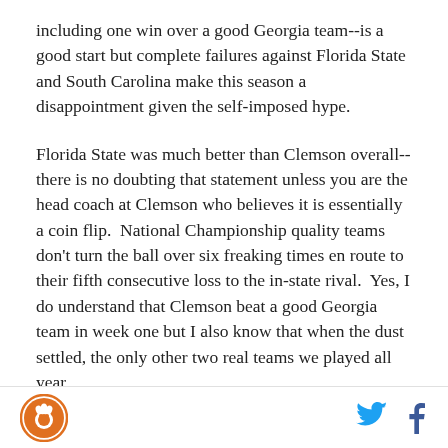including one win over a good Georgia team--is a good start but complete failures against Florida State and South Carolina make this season a disappointment given the self-imposed hype.
Florida State was much better than Clemson overall--there is no doubting that statement unless you are the head coach at Clemson who believes it is essentially a coin flip.  National Championship quality teams don't turn the ball over six freaking times en route to their fifth consecutive loss to the in-state rival.  Yes, I do understand that Clemson beat a good Georgia team in week one but I also know that when the dust settled, the only other two real teams we played all year
Logo and social icons